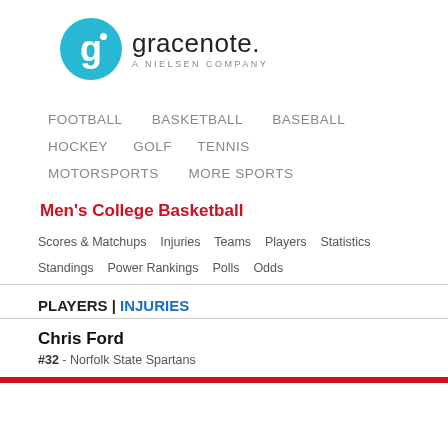[Figure (logo): Gracenote logo: cyan circle with white g letter and dot, followed by 'gracenote.' text and 'A NIELSEN COMPANY' subtitle]
FOOTBALL   BASKETBALL   BASEBALL   HOCKEY   GOLF   TENNIS   MOTORSPORTS   MORE SPORTS
Men's College Basketball
Scores & Matchups   Injuries   Teams   Players   Statistics   Standings   Power Rankings   Polls   Odds
PLAYERS | INJURIES
Chris Ford
#32 - Norfolk State Spartans